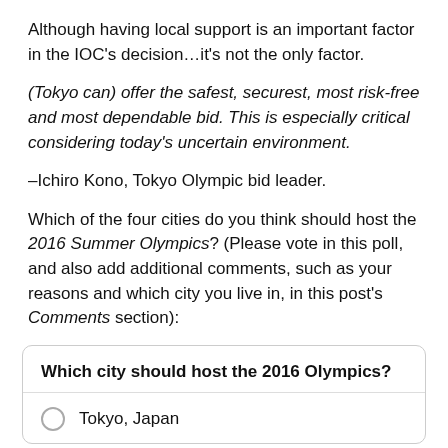Although having local support is an important factor in the IOC's decision…it's not the only factor.
(Tokyo can) offer the safest, securest, most risk-free and most dependable bid. This is especially critical considering today's uncertain environment.
–Ichiro Kono, Tokyo Olympic bid leader.
Which of the four cities do you think should host the 2016 Summer Olympics? (Please vote in this poll, and also add additional comments, such as your reasons and which city you live in, in this post's Comments section):
| Which city should host the 2016 Olympics? |
| --- |
| Tokyo, Japan |